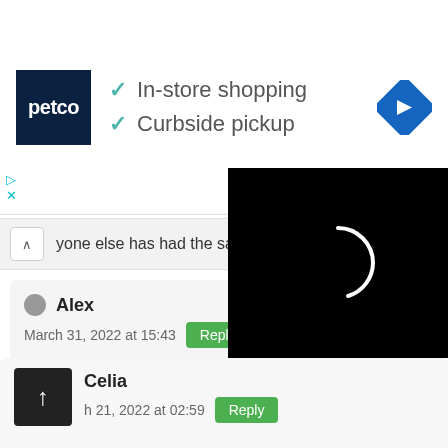[Figure (screenshot): Petco store ad banner showing logo, In-store shopping and Curbside pickup checkmarks, and a blue navigation arrow icon]
yone else has had the same issue regarding glass?
Alex
March 31, 2022 at 15:43
Gravel and some other blocks often glitch out the blocks near it to become a flashing light... installed and have checked to se... packs but its not. I love the pack... have sadly it kinda breaks it tho...
[Figure (screenshot): Black loading overlay with white circular spinner arc]
Celia
March 21, 2022 at 02:59